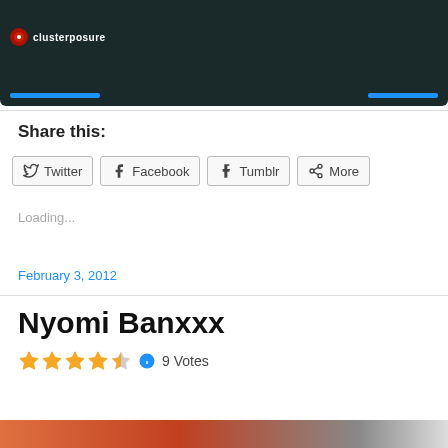[Figure (screenshot): Dark-themed video player screenshot with logo top-left and blue progress bars at bottom]
Share this:
Twitter  Facebook  Tumblr  More
Loading...
February 3, 2012
Nyomi Banxxx
9 Votes
[Figure (photo): Partial image strip at bottom of page]